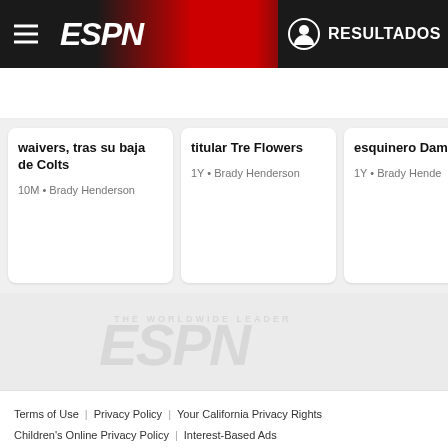ESPN — RESULTADOS
Perfil de Jugador | Noticias | Estadísticas | Bio | Splits | Resumen de
waivers, tras su baja de Colts
10M • Brady Henderson
titular Tre Flowers
1Y • Brady Henderson
esquinero Dam Randall
1Y • Brady Hende
[Figure (logo): ESPN watermark logo in light gray on gray background]
Terms of Use | Privacy Policy | Your California Privacy Rights | Children's Online Privacy Policy | Interest-Based Ads | About Nielsen Measurement | No vender mis datos personales | Contact Us | Disney Ad Sales Site | Work for ESPN
Copyright: © ESPN Enterprises, Inc. All rights reserved.